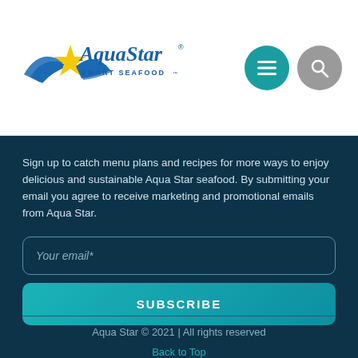[Figure (logo): Aqua Star Smart Seafood logo with stylized fish/wave in blue and yellow, company name in blue text]
[Figure (other): Navigation icons: teal hamburger menu circle and gray search circle]
Sign up to catch menu plans and recipes for more ways to enjoy delicious and sustainable Aqua Star seafood. By submitting your email you agree to receive marketing and promotional emails from Aqua Star.
Your email*
SUBSCRIBE
Aqua Star © 2021 | All rights reserved
Back to Top